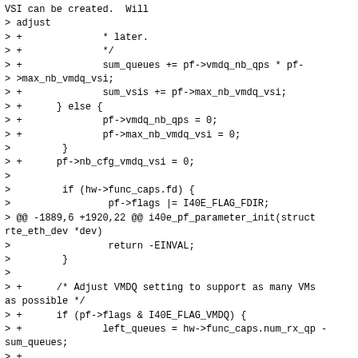VSI can be created.  Will
> adjust
> +              * later.
> +              */
> +              sum_queues += pf->vmdq_nb_qps * pf-
> >max_nb_vmdq_vsi;
> +              sum_vsis += pf->max_nb_vmdq_vsi;
> +      } else {
> +              pf->vmdq_nb_qps = 0;
> +              pf->max_nb_vmdq_vsi = 0;
>         }
> +      pf->nb_cfg_vmdq_vsi = 0;
>
>         if (hw->func_caps.fd) {
>                 pf->flags |= I40E_FLAG_FDIR;
> @@ -1889,6 +1920,22 @@ i40e_pf_parameter_init(struct rte_eth_dev *dev)
>                 return -EINVAL;
>         }
>
> +      /* Adjust VMDQ setting to support as many VMs as possible */
> +      if (pf->flags & I40E_FLAG_VMDQ) {
> +              left_queues = hw->func_caps.num_rx_qp - sum_queues;
> +
> +              pf->max_nb_vmdq_vsi +=
RTE_MIN(left_queues / pf-
> >vmdq_nb_qps,
> +                                              pf->max_num_vsi